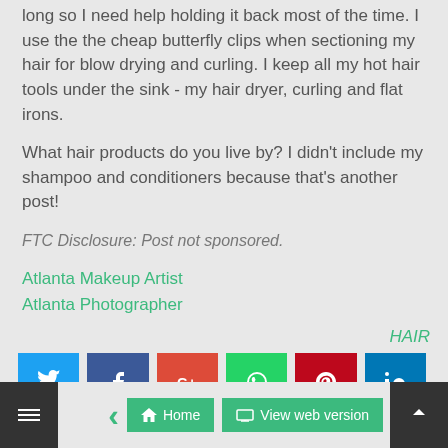long so I need help holding it back most of the time.  I use the the cheap butterfly clips when sectioning my hair for blow drying and curling.  I keep all my hot hair tools under the sink - my hair dryer, curling and flat irons.
What hair products do you live by?  I didn't include my shampoo and conditioners because that's another post!
FTC Disclosure:  Post not sponsored.
Atlanta Makeup Artist
Atlanta Photographer
HAIR
[Figure (screenshot): Social sharing buttons grid: Twitter (blue), Facebook (dark blue), Google+ (red-orange), WhatsApp (green), Pinterest (dark red), LinkedIn (blue), Print (gray), Email (dark red), Link (green)]
[Figure (screenshot): Bottom navigation bar with left arrow, Home button, View web version button, right arrow, mail icon bottom-left, up arrow bottom-right]